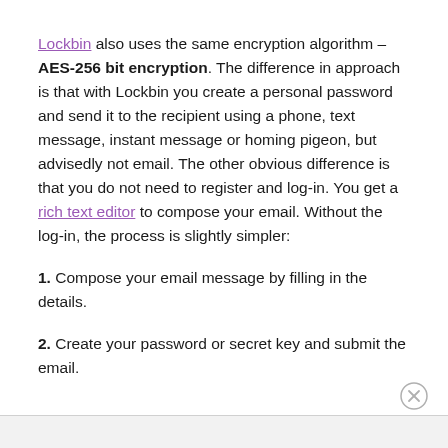Lockbin also uses the same encryption algorithm – AES-256 bit encryption. The difference in approach is that with Lockbin you create a personal password and send it to the recipient using a phone, text message, instant message or homing pigeon, but advisedly not email. The other obvious difference is that you do not need to register and log-in. You get a rich text editor to compose your email. Without the log-in, the process is slightly simpler:
1. Compose your email message by filling in the details.
2. Create your password or secret key and submit the email.